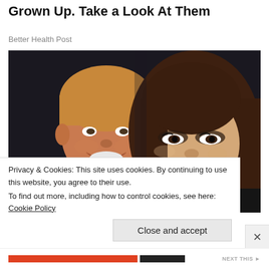[Gallery] Octomom's Eight Children Are All Grown Up. Take a Look At Them
Better Health Post
[Figure (photo): Close-up photo of a man (left) with blond hair smiling, wearing a dark suit and blue tie, and a woman (right) with long brown hair, wearing dark clothing, against a dark background.]
Privacy & Cookies: This site uses cookies. By continuing to use this website, you agree to their use.
To find out more, including how to control cookies, see here: Cookie Policy
Close and accept